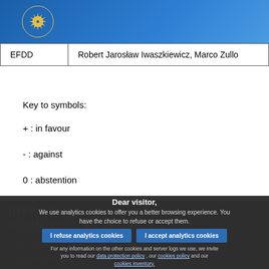[Figure (logo): European Parliament logo in the blue header bar]
| EFDD | Robert Jarosław Iwaszkiewicz, Marco Zullo |
Key to symbols:
+  :  in favour
-  :  against
0  :  abstention
Dear visitor, We use analytics cookies to offer you a better browsing experience. You have the choice to refuse or accept them. For any information on the other cookies and server logs we use, we invite you to read our data protection policy , our cookies policy and our cookies inventory.